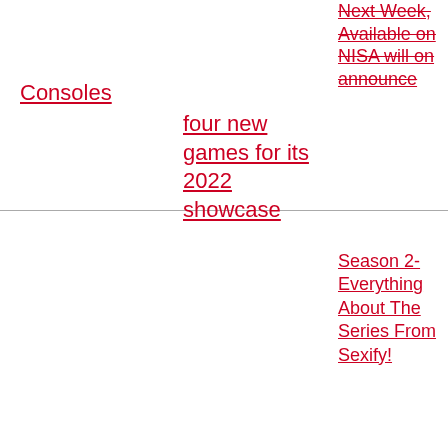Next Week, Available on NISA will on announce
Consoles
four new games for its 2022 showcase
Season 2- Everything About The Series From Sexify!
Kelly Neelan of Coronation Street will be exposed about her secret wedding plans